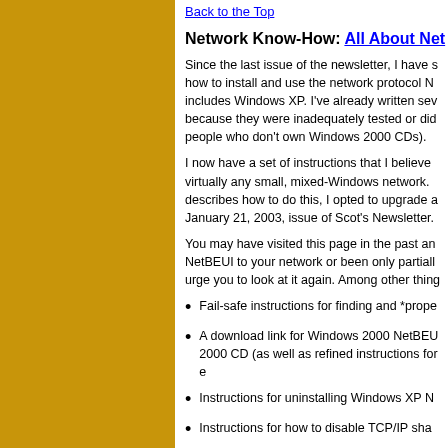Back to the Top
Network Know-How: All About Net
Since the last issue of the newsletter, I have s how to install and use the network protocol N includes Windows XP. I've already written sev because they were inadequately tested or did people who don't own Windows 2000 CDs).
I now have a set of instructions that I believe virtually any small, mixed-Windows network. describes how to do this, I opted to upgrade a January 21, 2003, issue of Scot's Newsletter.
You may have visited this page in the past an NetBEUI to your network or been only partiall urge you to look at it again. Among other thing
Fail-safe instructions for finding and *prope
A download link for Windows 2000 NetBEU 2000 CD (as well as refined instructions for e
Instructions for uninstalling Windows XP N
Instructions for how to disable TCP/IP sha
Instructions for how to test your NetBEUI n
If you've tried to install NetBEUI before and w